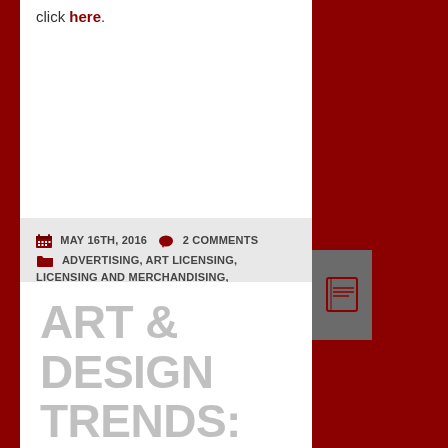click here.
MAY 16TH, 2016  2 COMMENTS  ADVERTISING, ART LICENSING, LICENSING AND MERCHANDISING, MARKETING, PACKAGING  IRA MAYER
ART & DESIGN TRENDS: BROOKLYN, SUSTAINABILITY